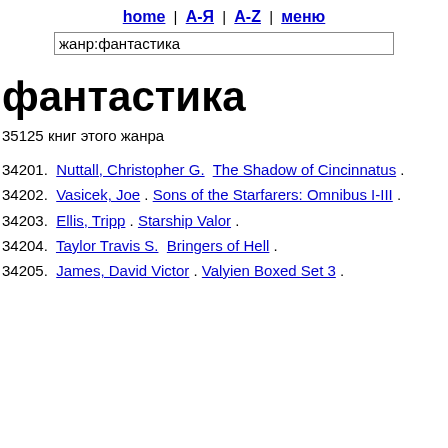home | А-Я | А-Z | меню
жанр:фантастика
фантастика
35125 книг этого жанра
34201.  Nuttall, Christopher G.   The Shadow of Cincinnatus .
34202.  Vasicek, Joe .  Sons of the Starfarers: Omnibus I-III .
34203.  Ellis, Tripp .  Starship Valor .
34204.  Taylor Travis S.   Bringers of Hell .
34205.  James, David Victor .  Valyien Boxed Set 3 .